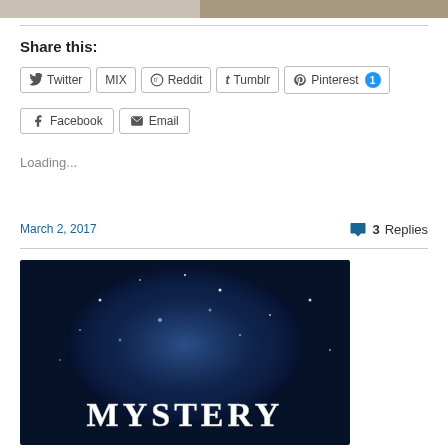[Figure (photo): Top cropped photo strip showing partial image of people]
Share this:
Twitter MIX Reddit Tumblr Pinterest 1 Facebook Email (social share buttons)
Loading...
March 2, 2017
3 Replies
[Figure (photo): Dark blue starry mystery image with the word MYSTERY in white block letters at the bottom]